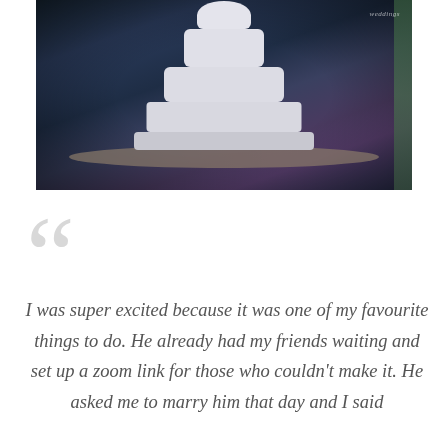[Figure (photo): A white tiered wedding cake on a round table in a dark venue with bokeh lights and greenery in the background. A small watermark reading 'weddings' is visible in the top right corner of the photo.]
I was super excited because it was one of my favourite things to do. He already had my friends waiting and set up a zoom link for those who couldn't make it. He asked me to marry him that day and I said